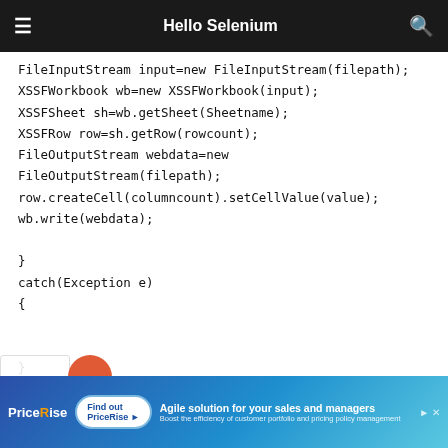Hello Selenium
FileInputStream input=new FileInputStream(filepath);
XSSFWorkbook wb=new XSSFWorkbook(input);
XSSFSheet sh=wb.getSheet(Sheetname);
XSSFRow row=sh.getRow(rowcount);
FileOutputStream webdata=new FileOutputStream(filepath);
row.createCell(columncount).setCellValue(value);
wb.write(webdata);

}
catch(Exception e)
{


}
}
Reply
Delete
Replies
[Figure (other): Advertisement banner for PriceRise: 'Agile solution for your sales and managers']